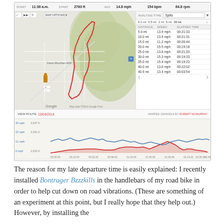[Figure (screenshot): Garmin Connect activity screenshot showing a cycling route map of Tucson area with a red route trace, splits analysis panel on the right with distance/speed/elapsed time data, and an elevation/speed chart below the map. Stats bar at top shows START 11:36 a.m., START 2783 ft, AVG 14.8 mph, 154 bpm, 64.8 rpm.]
The reason for my late departure time is easily explained: I recently installed Bontrager Bzzzkills in the handlebars of my road bike in order to help cut down on road vibrations. (These are something of an experiment at this point, but I really hope that they help out.) However, by installing the